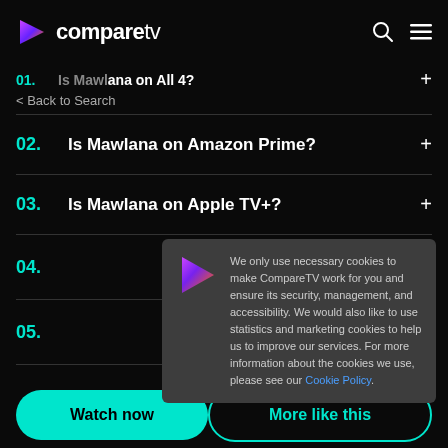compareTV
01. Is Mawlana on All 4?
< Back to Search
02. Is Mawlana on Amazon Prime?
03. Is Mawlana on Apple TV+?
04.
05.
06.
We only use necessary cookies to make CompareTV work for you and ensure its security, management, and accessibility. We would also like to use statistics and marketing cookies to help us to improve our services. For more information about the cookies we use, please see our Cookie Policy.
Watch now
More like this